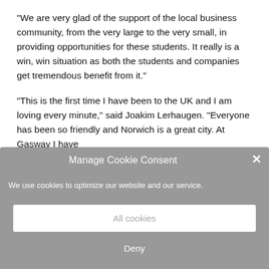“We are very glad of the support of the local business community, from the very large to the very small, in providing opportunities for these students. It really is a win, win situation as both the students and companies get tremendous benefit from it.”
“This is the first time I have been to the UK and I am loving every minute,” said Joakim Lerhaugen. “Everyone has been so friendly and Norwich is a great city. At Gasway I have been able to demonstrate my skills and contribute to real projects.”
Manage Cookie Consent
We use cookies to optimize our website and our service.
All cookies
Deny